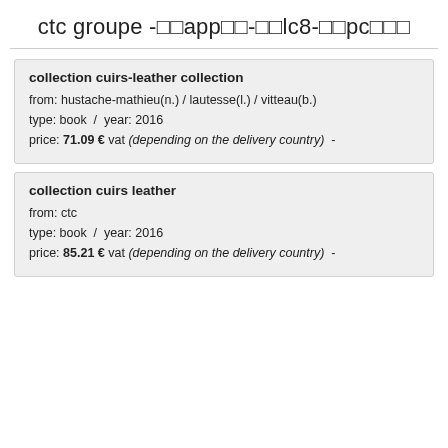ctc groupe -□□app□□-□□lc8-□□pc□□□
collection cuirs-leather collection
from: hustache-mathieu(n.) / lautesse(l.) / vitteau(b.)
type: book  /  year: 2016
price: 71.09 € vat (depending on the delivery country)  -
collection cuirs leather
from: ctc
type: book  /  year: 2016
price: 85.21 € vat (depending on the delivery country)  -